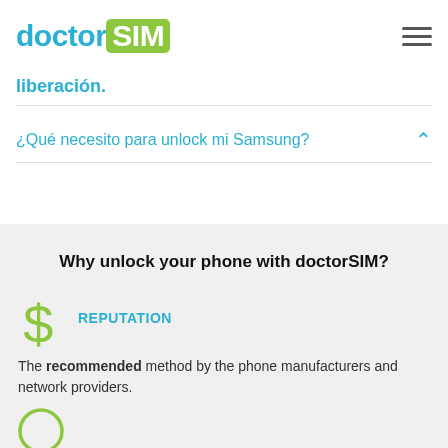doctorSIM
liberación.
¿Qué necesito para unlock mi Samsung?
Why unlock your phone with doctorSIM?
REPUTATION
The recommended method by the phone manufacturers and network providers.